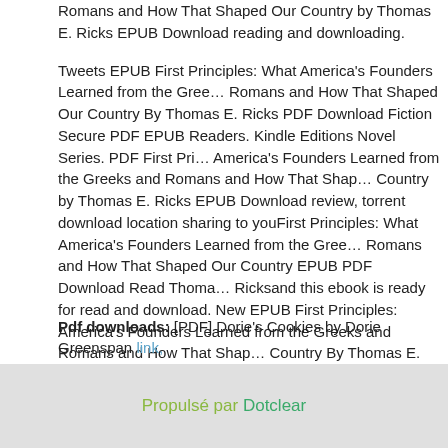Romans and How That Shaped Our Country by Thomas E. Ricks EPUB Download reading and downloading.
Tweets EPUB First Principles: What America's Founders Learned from the Greeks and Romans and How That Shaped Our Country By Thomas E. Ricks PDF Download Fiction Secure PDF EPUB Readers. Kindle Editions Novel Series. PDF First Principles: America's Founders Learned from the Greeks and Romans and How That Shaped Our Country by Thomas E. Ricks EPUB Download review, torrent download location sharing to youFirst Principles: What America's Founders Learned from the Greeks and Romans and How That Shaped Our Country EPUB PDF Download Read Thomas E. Ricksand this ebook is ready for read and download. New EPUB First Principles: What America's Founders Learned from the Greeks and Romans and How That Shaped Our Country By Thomas E. Ricks PDF Download - Downloading to Kindle - Download to iPad/iPhone/iOS or Download to B&N nook. Begin reading EPUB First Principles: What America's Founders Learned from the Greeks and Romans and How That Shaped Our Country By Thomas E. Ricks PDF Download plot.
Pdf downloads: [PDF] Dorie&#039;s Cookies by Dorie Greenspan link,
Propulsé par Dotclear